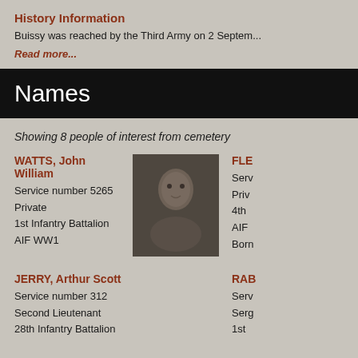History Information
Buissy was reached by the Third Army on 2 Septem...
Read more...
Names
Showing 8 people of interest from cemetery
WATTS, John William
Service number 5265
Private
1st Infantry Battalion
AIF WW1
[Figure (photo): Black and white portrait photo of a soldier]
FLE...
Serv...
Priv...
4th...
AIF...
Born...
JERRY, Arthur Scott
Service number 312
Second Lieutenant
28th Infantry Battalion
RAB...
Serv...
Serg...
1st...